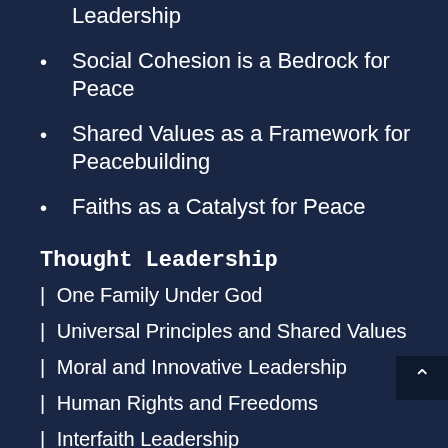Leadership
Social Cohesion is a Bedrock for Peace
Shared Values as a Framework for Peacebuilding
Faiths as a Catalyst for Peace
Thought Leadership
| One Family Under God
| Universal Principles and Shared Values
| Moral and Innovative Leadership
| Human Rights and Freedoms
| Interfaith Leadership
| Korean Dream
| National Transformation